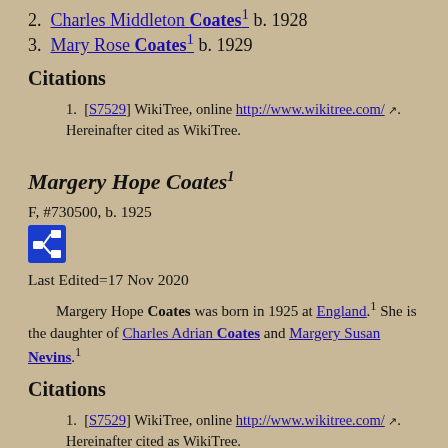2. Charles Middleton Coates¹ b. 1928
3. Mary Rose Coates¹ b. 1929
Citations
1. [S7529] WikiTree, online http://www.wikitree.com/ [external link]. Hereinafter cited as WikiTree.
Margery Hope Coates¹
F, #730500, b. 1925
[Figure (other): Blue icon with family tree / relationship diagram symbol]
Last Edited=17 Nov 2020
Margery Hope Coates was born in 1925 at England.¹ She is the daughter of Charles Adrian Coates and Margery Susan Nevins.¹
Citations
1. [S7529] WikiTree, online http://www.wikitree.com/ [external link]. Hereinafter cited as WikiTree.